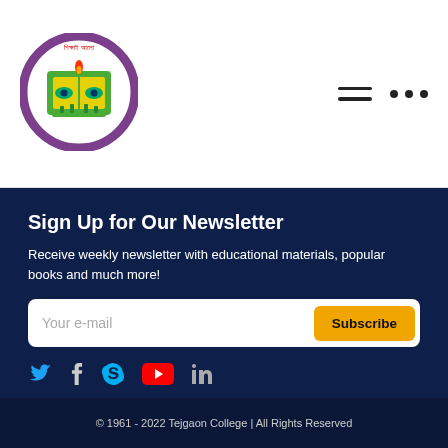[Figure (logo): Tejgaon College circular logo with green book and flame, Bengali text around border]
Sign Up for Our Newsletter
Receive weekly newsletter with educational materials, popular books and much more!
[Figure (other): Email subscription form with 'Your e-mail' placeholder and yellow Subscribe button]
[Figure (other): Social media icons: Twitter (blue), Facebook (white), Skype (blue), YouTube (red), LinkedIn (gray)]
© 1961 - 2022 Tejgaon College | All Rights Reserved